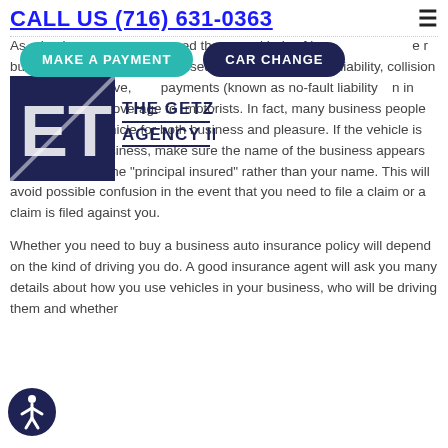CALL US (716) 631-0363
[Figure (logo): The Getzoni Agency Inc logo with stylized 'ET' initials on dark navy background]
As a business owner, you need the same kinds of insurance for a car or truck used in your business as you do for a car used for personal travel -- liability, collision and comprehensive, uninsured motorists (known as no-fault liability in some states) and coverage for uninsured motorists. In fact, many business people use the same vehicle for both business and pleasure. If the vehicle is owned by the business, make sure the name of the business appears on the policy as the "principal insured" rather than your name. This will avoid possible confusion in the event that you need to file a claim or a claim is filed against you.
Whether you need to buy a business auto insurance policy will depend on the kind of driving you do. A good insurance agent will ask you many details about how you use vehicles in your business, who will be driving them and whether